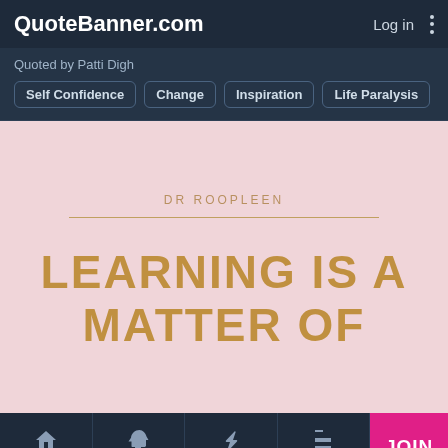QuoteBanner.com   Log in
Quoted by Patti Digh
Self Confidence
Change
Inspiration
Life Paralysis
[Figure (illustration): Quote banner with pink background showing 'DR ROOPLEEN' in small gold uppercase text, a gold horizontal rule, then large gold uppercase text reading 'LEARNING IS A MATTER OF']
Home   Popular   Authors   Topics   JOIN